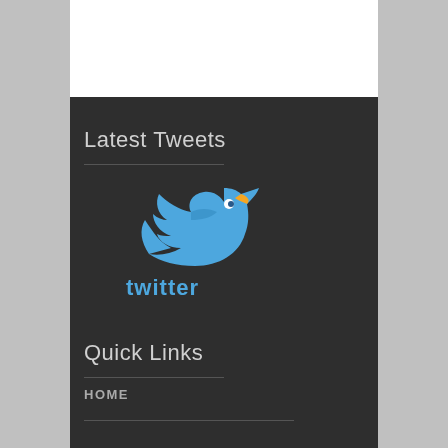Latest Tweets
[Figure (logo): Twitter bird logo above the word 'twitter' in blue]
Quick Links
HOME